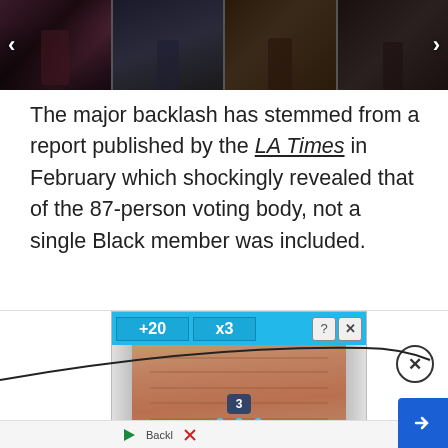[Figure (photo): Photo strip showing four concert/performer images with left and right navigation arrows]
The major backlash has stemmed from a report published by the LA Times in February which shockingly revealed that of the 87-person voting body, not a single Black member was included.
[Figure (screenshot): Mobile game advertisement showing a bowling-style lane game with +20 and X3 score indicators, game characters at the bottom, and a number 3 badge]